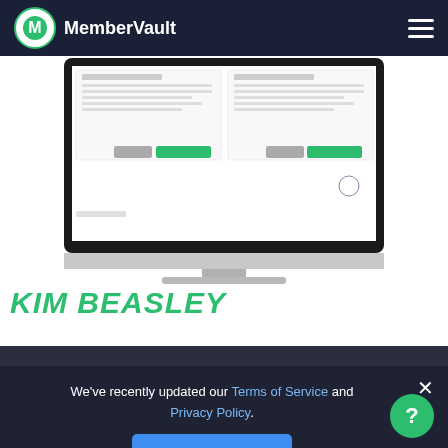MemberVault
[Figure (screenshot): iMac desktop computer showing the MemberVault web application interface with product listing cards and green buttons]
KIM BEASLEY
Kim is an international speaker and industry leader when it comes to increasing business brand visibility. Being a creative introverted entrepreneur, she has a heart for coaching others like herself who wants
We've recently updated our Terms of Service and Privacy Policy.
I Agree